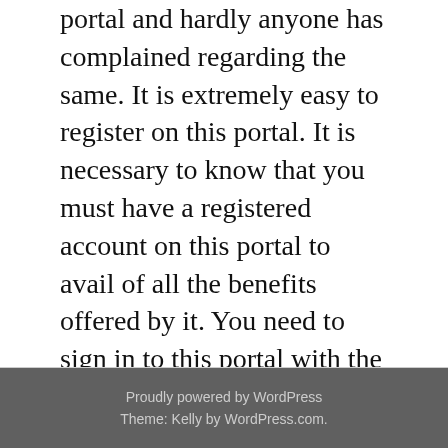portal and hardly anyone has complained regarding the same. It is extremely easy to register on this portal. It is necessary to know that you must have a registered account on this portal to avail of all the benefits offered by it. You need to sign in to this portal with the login credentials provided to access the benefits entitled to you. Thus, if you are a student who is trying to get admission to the college, just visit this portal once at www.mylonestar.com to make sure that you make no mistake in taking the admission.
Proudly powered by WordPress
Theme: Kelly by WordPress.com.